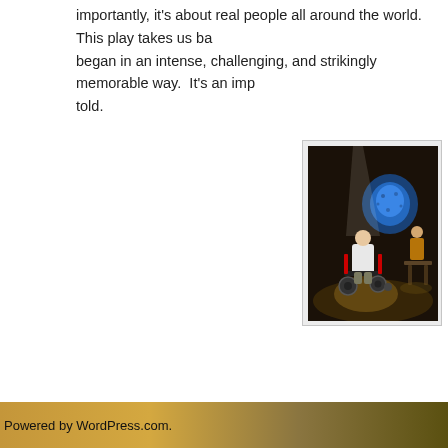importantly, it's about real people all around the world.  This play takes us back to where it all began in an intense, challenging, and strikingly memorable way.  It's an important story that needs to be told.
[Figure (photo): Theater stage photo showing a person in a motorized wheelchair in a spotlight, with a glowing blue circular projection on the back wall and another person seated at a table in the background.]
Lavonne Byers, Stephen Peirick
Photo: Todd Studios
HotCity Theatre
Read Full Post »
Powered by WordPress.com.